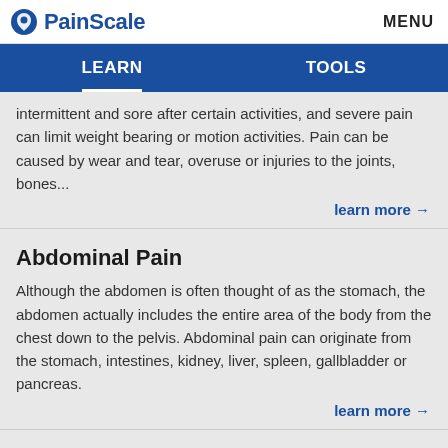PainScale | MENU
LEARN | TOOLS
intermittent and sore after certain activities, and severe pain can limit weight bearing or motion activities. Pain can be caused by wear and tear, overuse or injuries to the joints, bones...
learn more →
Abdominal Pain
Although the abdomen is often thought of as the stomach, the abdomen actually includes the entire area of the body from the chest down to the pelvis. Abdominal pain can originate from the stomach, intestines, kidney, liver, spleen, gallbladder or pancreas.
learn more →
Wrist Pain